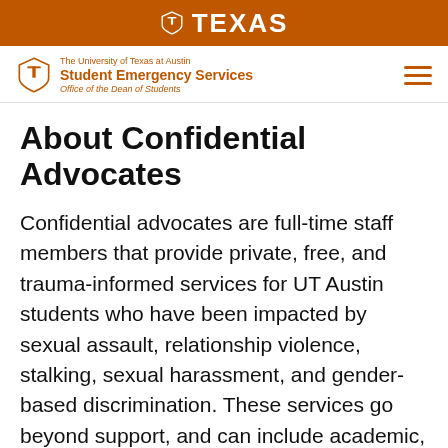TEXAS
The University of Texas at Austin Student Emergency Services Office of the Dean of Students
About Confidential Advocates
Confidential advocates are full-time staff members that provide private, free, and trauma-informed services for UT Austin students who have been impacted by sexual assault, relationship violence, stalking, sexual harassment, and gender-based discrimination. These services go beyond support, and can include academic, housing, medical, and/or financial accommodations.